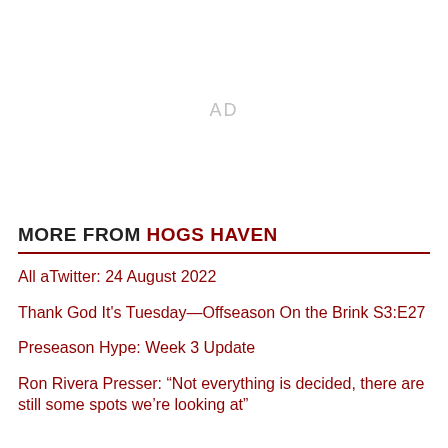[Figure (other): Advertisement placeholder area showing 'AD' text in light gray]
MORE FROM HOGS HAVEN
All aTwitter: 24 August 2022
Thank God It's Tuesday—Offseason On the Brink S3:E27
Preseason Hype: Week 3 Update
Ron Rivera Presser: “Not everything is decided, there are still some spots we’re looking at”